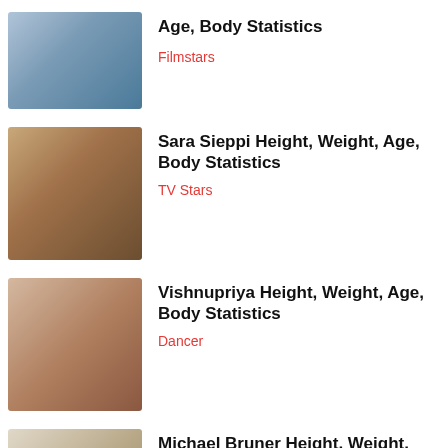[Figure (photo): Partial view of a woman with brown hair against a blue background]
Age, Body Statistics
Filmstars
[Figure (photo): Woman with long brown hair and blue eye makeup]
Sara Sieppi Height, Weight, Age, Body Statistics
TV Stars
[Figure (photo): Young woman with dark hair and hoop earrings on a light background]
Vishnupriya Height, Weight, Age, Body Statistics
Dancer
[Figure (photo): Young man with glasses holding a medal, smiling, against a geometric wallpaper]
Michael Bruner Height, Weight, Age, Body Statistics
TV Stars